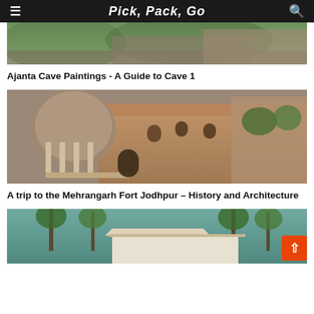Pick, Pack, Go
[Figure (photo): Partial view of Ajanta Cave area with green trees and hillside, top portion of image]
Ajanta Cave Paintings - A Guide to Cave 1
[Figure (photo): Mehrangarh Fort Jodhpur - large sandstone fort with dome structures, balconies, columns and carved architecture]
A trip to the Mehrangarh Fort Jodhpur - History and Architecture
[Figure (photo): A building with white roof surrounded by palm trees and tropical greenery]